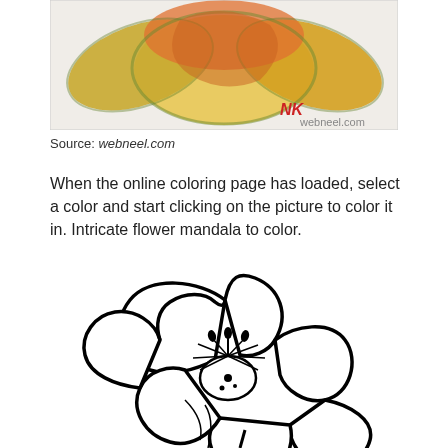[Figure (photo): A colored pencil drawing of flower petals with orange, yellow and green tones. Artist initials 'NK' in red, with 'webneel.com' watermark.]
Source: webneel.com
When the online coloring page has loaded, select a color and start clicking on the picture to color it in. Intricate flower mandala to color.
[Figure (illustration): A black and white line drawing of a large open flower (poppy/mandala style) with ruffled petals and detailed stamen in the center, suitable for coloring. The flower has a stem at the bottom.]